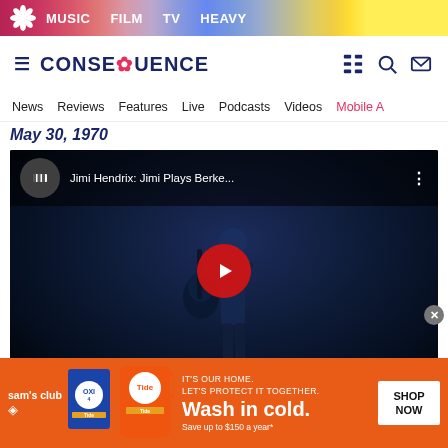MUSIC  FILM  TV  HEAVY
[Figure (logo): Consequence of Sound logo with flower icon]
News  Reviews  Features  Live  Podcasts  Videos  Mobile A
May 30, 1970
[Figure (screenshot): YouTube video embed showing Jimi Hendrix: Jimi Plays Berke... with a dark stage photo of a guitarist and a red play button]
[Figure (photo): Sam's Club advertisement banner: IT'S OUR HOME. LET'S PROTECT IT TOGETHER. Wash in cold. Save up to $150 a year* — SHOP NOW button with Tide products]